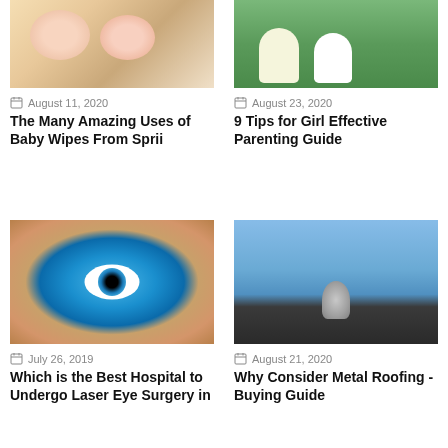[Figure (photo): Two babies lying down, one in yellow outfit]
August 11, 2020
The Many Amazing Uses of Baby Wipes From Sprii
[Figure (photo): Two girls in white dresses sitting on green grass]
August 23, 2020
9 Tips for Girl Effective Parenting Guide
[Figure (photo): Close-up of a blue eye]
July 26, 2019
Which is the Best Hospital to Undergo Laser Eye Surgery in
[Figure (photo): Roof with metal spinning ventilator against blue sky]
August 21, 2020
Why Consider Metal Roofing - Buying Guide